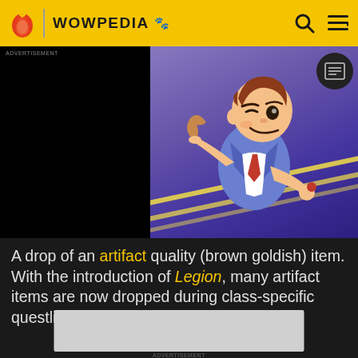WOWPEDIA
[Figure (screenshot): Wowpedia website header with yellow background, flame logo, WOWPEDIA title with paw icon, search and menu icons on the right.]
[Figure (photo): Advertisement area with black panel on left and a 3D cartoon character (male, brown hair, wearing suit and tie, running/sliding) on colored background with yellow road lines. Advertisement label visible in top left.]
A drop of an artifact quality (brown goldish) item. With the introduction of Legion, many artifact items are now dropped during class-specific questlines and from bosses.
[Figure (other): Gray advertisement placeholder box at bottom of page.]
ADVERTISEMENT